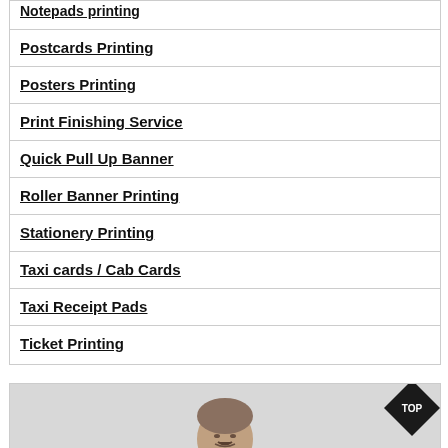Notepads printing
Postcards Printing
Posters Printing
Print Finishing Service
Quick Pull Up Banner
Roller Banner Printing
Stationery Printing
Taxi cards / Cab Cards
Taxi Receipt Pads
Ticket Printing
[Figure (photo): A man's head and shoulders visible at bottom of page with a black diamond TOP button in upper right corner]